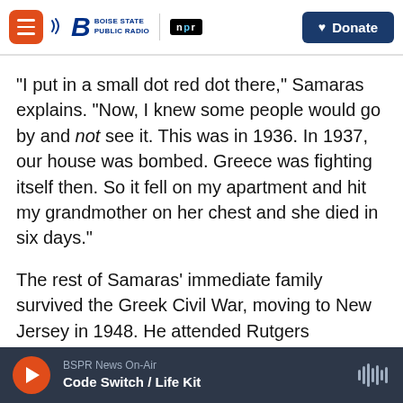Boise State Public Radio / NPR — Donate
"I put in a small dot red dot there," Samaras explains. "Now, I knew some people would go by and not see it. This was in 1936. In 1937, our house was bombed. Greece was fighting itself then. So it fell on my apartment and hit my grandmother on her chest and she died in six days."
The rest of Samaras' immediate family survived the Greek Civil War, moving to New Jersey in 1948. He attended Rutgers University. Then, in Manhattan, he studied acting with one of the great teachers of the last century, Stella Adler.
BSPR News On-Air — Code Switch / Life Kit